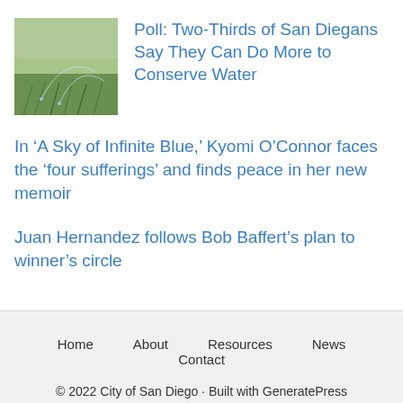[Figure (photo): Thumbnail image of grass or lawn with sprinklers, greenish outdoor scene]
Poll: Two-Thirds of San Diegans Say They Can Do More to Conserve Water
In ‘A Sky of Infinite Blue,’ Kyomi O’Connor faces the ‘four sufferings’ and finds peace in her new memoir
Juan Hernandez follows Bob Baffert’s plan to winner’s circle
Home   About   Resources   News   Contact
© 2022 City of San Diego · Built with GeneratePress